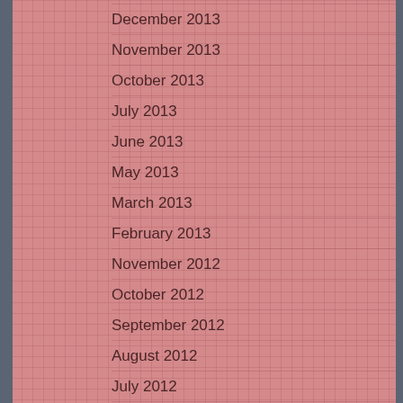December 2013
November 2013
October 2013
July 2013
June 2013
May 2013
March 2013
February 2013
November 2012
October 2012
September 2012
August 2012
July 2012
May 2012